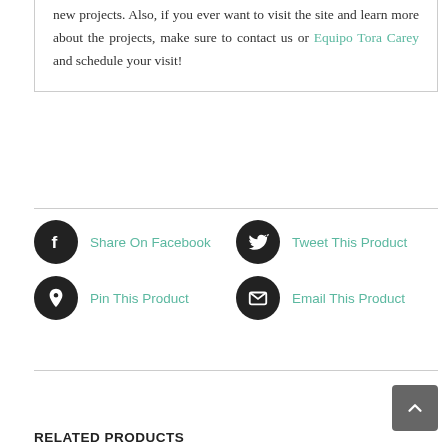new projects. Also, if you ever want to visit the site and learn more about the projects, make sure to contact us or Equipo Tora Carey and schedule your visit!
Share On Facebook
Tweet This Product
Pin This Product
Email This Product
RELATED PRODUCTS